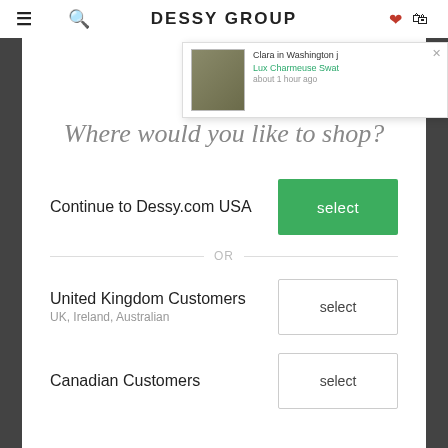DESSY GROUP
[Figure (screenshot): Notification popup showing a fabric swatch image (olive/sage green color), text 'Clara in Washington j...' and 'Lux Charmeuse Swat...' in teal, 'about 1 hour ago', with a close X button.]
Where would you like to shop?
Continue to Dessy.com USA
select
OR
United Kingdom Customers
UK, Ireland, Australian
select
Canadian Customers
select